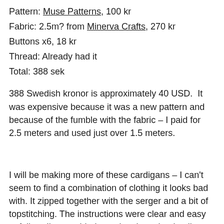Pattern: Muse Patterns, 100 kr
Fabric: 2.5m? from Minerva Crafts, 270 kr
Buttons x6, 18 kr
Thread: Already had it
Total: 388 sek
388 Swedish kronor is approximately 40 USD. It was expensive because it was a new pattern and because of the fumble with the fabric – I paid for 2.5 meters and used just over 1.5 meters.
I will be making more of these cardigans – I can't seem to find a combination of clothing it looks bad with. It zipped together with the serger and a bit of topstitching. The instructions were clear and easy to follow. I'm considering trying the yoke detail next time